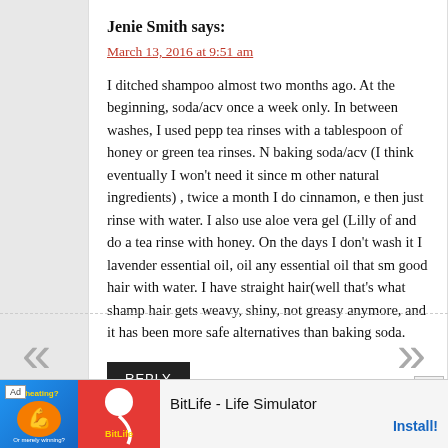Jenie Smith says:
March 13, 2016 at 9:51 am
I ditched shampoo almost two months ago. At the beginning, soda/acv once a week only. In between washes, I used peppermint tea rinses with a tablespoon of honey or green tea rinses. Now baking soda/acv (I think eventually I won't need it since my other natural ingredients) , twice a month I do cinnamon, egg, then just rinse with water. I also use aloe vera gel (Lilly of the desert) and do a tea rinse with honey. On the days I don't wash it I use lavender essential oil, oil any essential oil that smells good, and wet my hair with water. I have straight hair(well that's what shampoo did) my hair gets weavy, shiny, not greasy anymore, and it has been looking for more safe alternatives than baking soda.
REPLY
[Figure (infographic): Ad banner for BitLife - Life Simulator with Ad label, colorful logo images, app title, and Install! link]